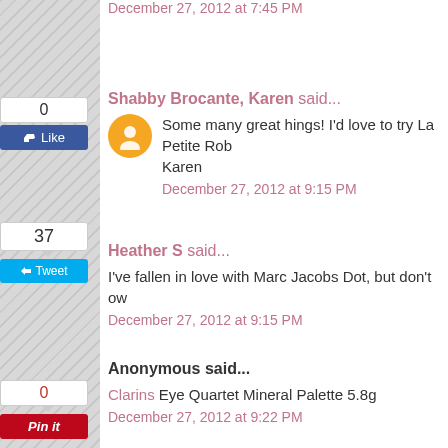December 27, 2012 at 7:45 PM
Shabby Brocante, Karen said...
Some many great hings! I'd love to try La Petite Rob... Karen
December 27, 2012 at 9:15 PM
Heather S said...
I've fallen in love with Marc Jacobs Dot, but don't ow...
December 27, 2012 at 9:15 PM
Anonymous said...
Clarins Eye Quartet Mineral Palette 5.8g
December 27, 2012 at 9:22 PM
Unknown said...